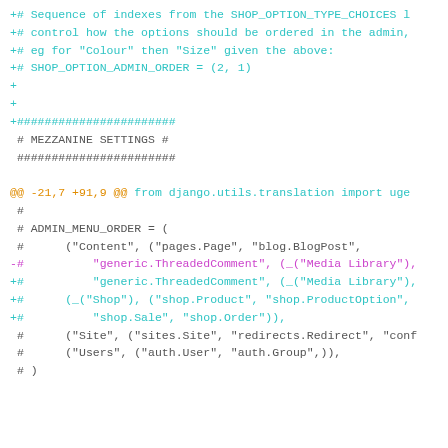Code diff showing Django/Mezzanine settings configuration with added shop options and admin menu order settings
[Figure (screenshot): Code diff view showing lines with cyan '+#' comment lines about SHOP_OPTION_TYPE_CHOICES sequence and SHOP_OPTION_ADMIN_ORDER, then a section separator with MEZZANINE SETTINGS, then a hunk header in orange showing @@ -21,7 +91,9 @@ from django.utils.translation import uge, followed by commented and modified lines for ADMIN_MENU_ORDER with magenta removed line and cyan added lines]